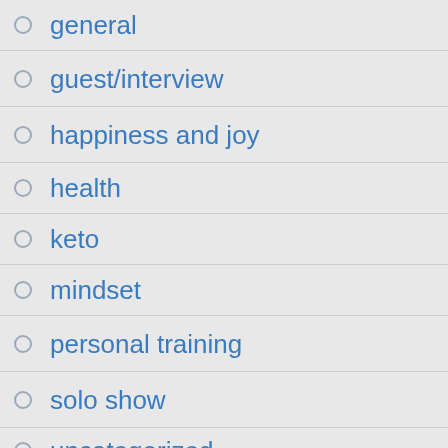general
guest/interview
happiness and joy
health
keto
mindset
personal training
solo show
uncategorized